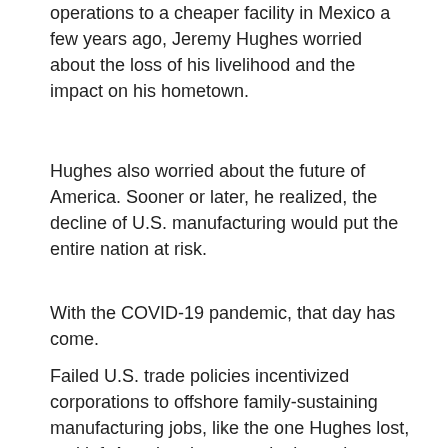operations to a cheaper facility in Mexico a few years ago, Jeremy Hughes worried about the loss of his livelihood and the impact on his hometown.
Hughes also worried about the future of America. Sooner or later, he realized, the decline of U.S. manufacturing would put the entire nation at risk.
With the COVID-19 pandemic, that day has come.
Failed U.S. trade policies incentivized corporations to offshore family-sustaining manufacturing jobs, like the one Hughes lost, and left America dangerously dependent on other countries for consumer goods, industrial products and even the medical supplies critically needed to fight COVID-19.
x